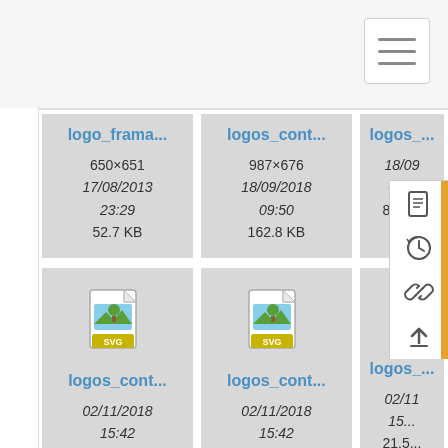[Figure (screenshot): Top navigation bar with hamburger menu button]
[Figure (screenshot): File browser grid showing SVG image files with metadata: logo_frama... (650x651, 17/08/2013 23:29, 52.7 KB), logos_cont... (987x676, 18/09/2018 09:50, 162.8 KB), logos_... (partial, 18/09..., 09..., 88.4...), logos_cont... (02/11/2018 15:42, 21.9 KB), logos_cont... (02/11/2018 15:42, 21.4 KB), logos_... (partial, 02/11, 15..., 21.5...)]
[Figure (screenshot): Right sidebar with icons: document, history, link, upload arrow, and an orange accent bar]